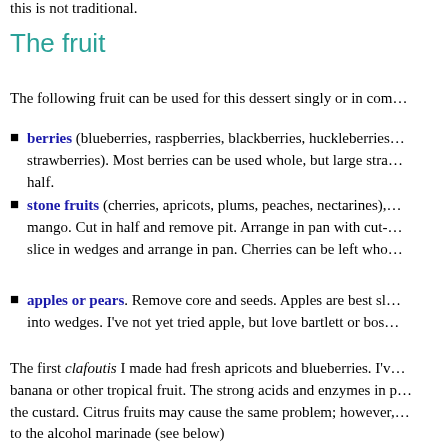this is not traditional.
The fruit
The following fruit can be used for this dessert singly or in com…
berries (blueberries, raspberries, blackberries, huckleberries… strawberries). Most berries can be used whole, but large stra… half.
stone fruits (cherries, apricots, plums, peaches, nectarines),… mango. Cut in half and remove pit. Arrange in pan with cut-… slice in wedges and arrange in pan. Cherries can be left who…
apples or pears. Remove core and seeds. Apples are best sl… into wedges. I've not yet tried apple, but love bartlett or bos…
The first clafoutis I made had fresh apricots and blueberries. I'v… banana or other tropical fruit. The strong acids and enzymes in p… the custard. Citrus fruits may cause the same problem; however,… to the alcohol marinade (see below)